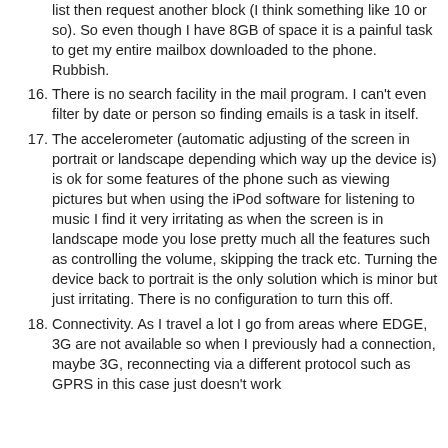list then request another block (I think something like 10 or so). So even though I have 8GB of space it is a painful task to get my entire mailbox downloaded to the phone. Rubbish.
16. There is no search facility in the mail program. I can't even filter by date or person so finding emails is a task in itself.
17. The accelerometer (automatic adjusting of the screen in portrait or landscape depending which way up the device is) is ok for some features of the phone such as viewing pictures but when using the iPod software for listening to music I find it very irritating as when the screen is in landscape mode you lose pretty much all the features such as controlling the volume, skipping the track etc. Turning the device back to portrait is the only solution which is minor but just irritating. There is no configuration to turn this off.
18. Connectivity. As I travel a lot I go from areas where EDGE, 3G are not available so when I previously had a connection, maybe 3G, reconnecting via a different protocol such as GPRS in this case just doesn't work smoothly. Cutting emails and browsing the Internet ...